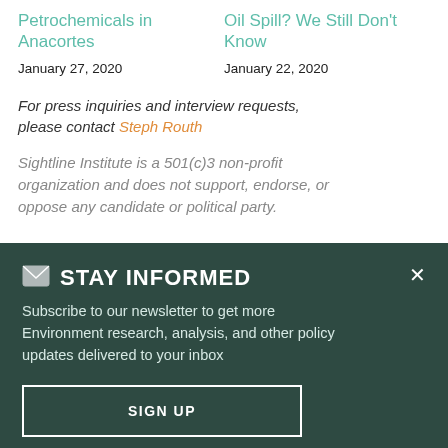Petrochemicals in Anacortes
January 27, 2020
Oil Spill? We Still Don't Know
January 22, 2020
For press inquiries and interview requests, please contact Steph Routh
Sightline Institute is a 501(c)3 non-profit organization and does not support, endorse, or oppose any candidate or political party.
STAY INFORMED
Subscribe to our newsletter to get more Environment research, analysis, and other policy updates delivered to your inbox
SIGN UP